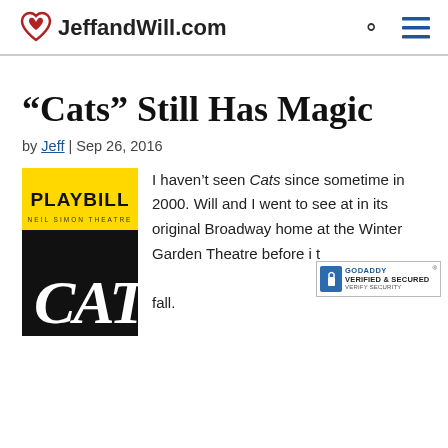JeffandWill.com
“Cats” Still Has Magic
by Jeff | Sep 26, 2016
[Figure (illustration): Cats Playbill cover from Neil Simon Theatre showing yellow top band with PLAYBILL text and black bottom with CATS in white lettering]
I haven’t seen Cats since sometime in 2000. Will and I went to see at in its original Broadway home at the Winter Garden Theatre before it fall.